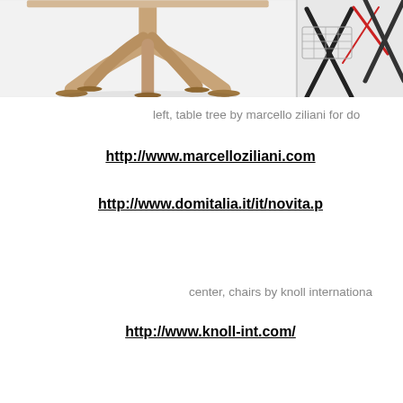[Figure (photo): Left portion: product photo of a table with wooden branching/tree-shaped legs on white background. Right portion: partial view of chairs with crossed metal/black frame legs and red accents.]
left, table tree by marcello ziliani for do
http://www.marcelloziliani.com
http://www.domitalia.it/it/novita.p
center, chairs by knoll internationa
http://www.knoll-int.com/